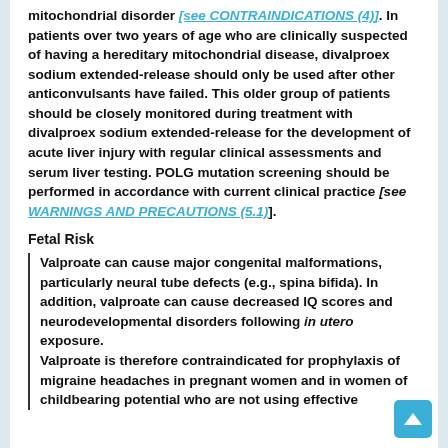mitochondrial disorder [see CONTRAINDICATIONS (4)]. In patients over two years of age who are clinically suspected of having a hereditary mitochondrial disease, divalproex sodium extended-release should only be used after other anticonvulsants have failed. This older group of patients should be closely monitored during treatment with divalproex sodium extended-release for the development of acute liver injury with regular clinical assessments and serum liver testing. POLG mutation screening should be performed in accordance with current clinical practice [see WARNINGS AND PRECAUTIONS (5.1)].
Fetal Risk
Valproate can cause major congenital malformations, particularly neural tube defects (e.g., spina bifida). In addition, valproate can cause decreased IQ scores and neurodevelopmental disorders following in utero exposure.
Valproate is therefore contraindicated for prophylaxis of migraine headaches in pregnant women and in women of childbearing potential who are not using effective